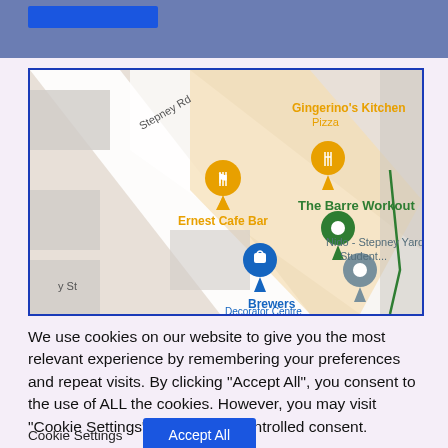[Figure (screenshot): Top blue-gray navigation bar with a blue button]
[Figure (map): Google Maps screenshot showing Stepney Rd area with pins for Ernest Cafe Bar, Gingerino's Kitchen Pizza, The Barre Workout, Brewers Decorator Centre, and Nido - Stepney Yard - Student...]
We use cookies on our website to give you the most relevant experience by remembering your preferences and repeat visits. By clicking "Accept All", you consent to the use of ALL the cookies. However, you may visit "Cookie Settings" to provide a controlled consent.
Cookie Settings
Accept All